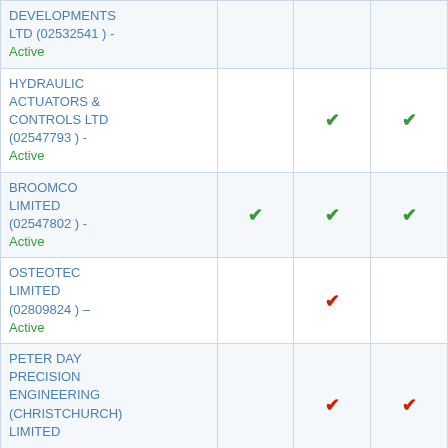| Company |  |  |  |
| --- | --- | --- | --- |
| DEVELOPMENTS LTD (02532541) - Active |  |  |  |
| HYDRAULIC ACTUATORS & CONTROLS LTD (02547793) - Active |  | ✓ | ✓ |
| BROOMCO LIMITED (02547802) - Active | ✓ | ✓ | ✓ |
| OSTEOTEC LIMITED (02809824) - Active |  | ✓ |  |
| PETER DAY PRECISION ENGINEERING (CHRISTCHURCH) LIMITED |  | ✓ | ✓ |